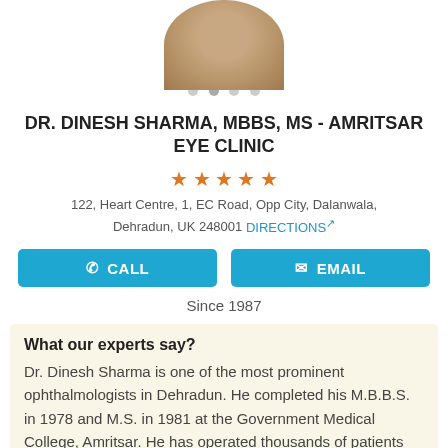[Figure (photo): Circular cropped photo of Dr. Dinesh Sharma in medical coat, partially visible at top]
DR. DINESH SHARMA, MBBS, MS - AMRITSAR EYE CLINIC
[Figure (other): Five orange star rating icons]
122, Heart Centre, 1, EC Road, Opp City, Dalanwala, Dehradun, UK 248001 DIRECTIONS
CALL  EMAIL
Since 1987
What our experts say?
Dr. Dinesh Sharma is one of the most prominent ophthalmologists in Dehradun. He completed his M.B.B.S. in 1978 and M.S. in 1981 at the Government Medical College, Amritsar. He has operated thousands of patients free of cost even at faraway places like Varanasi. He handles a large variety of cases not only in the out-patient